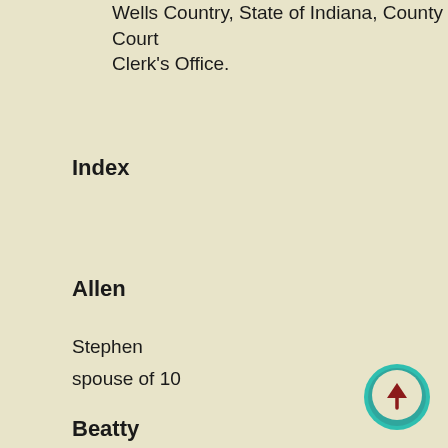Wells Country, State of Indiana, County Court Clerk's Office.
Index
Allen
Stephen
spouse of 10
Beatty
Isabell
parent of spouse of 6